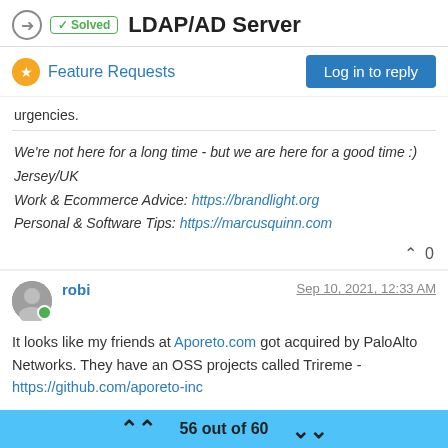✓ Solved  LDAP/AD Server
Feature Requests   Log in to reply
urgencies.
We're not here for a long time - but we are here for a good time :)
Jersey/UK
Work & Ecommerce Advice: https://brandlight.org
Personal & Software Tips: https://marcusquinn.com
^ 0
robi   Sep 10, 2021, 12:33 AM
It looks like my friends at Aporeto.com got acquired by PaloAlto Networks. They have an OSS projects called Trireme - https://github.com/aporeto-inc
Trireme, an open-source library curated by Aporeto to provide
56 out of 60